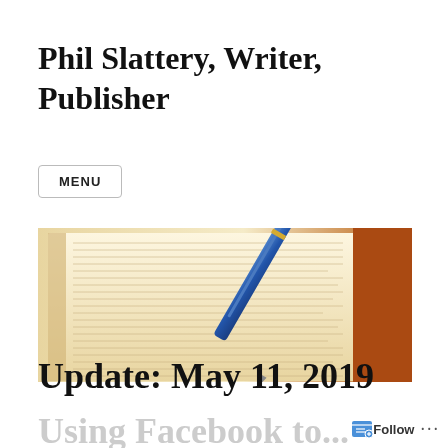Phil Slattery, Writer, Publisher
MENU
[Figure (photo): Open book with text pages and a blue pen resting on it, warm golden lighting]
Update: May 11, 2019
Using Facebook to...